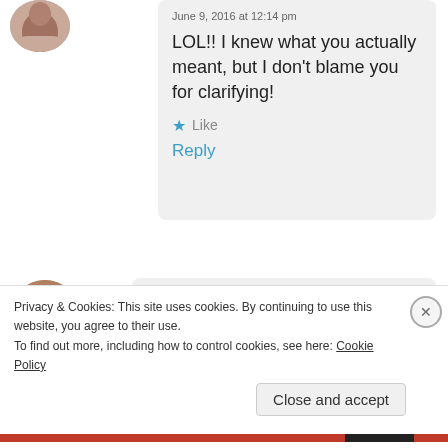[Figure (photo): Partial avatar image at top left, cropped circle showing person's photo]
June 9, 2016 at 12:14 pm
LOL!! I knew what you actually meant, but I don't blame you for clarifying!
★ Like
Reply
[Figure (photo): Circular avatar photo of a blonde woman (Gail)]
Gail
June 9, 2016 at 12:16 pm
What a lovely thing to write. I
Privacy & Cookies: This site uses cookies. By continuing to use this website, you agree to their use.
To find out more, including how to control cookies, see here: Cookie Policy
Close and accept